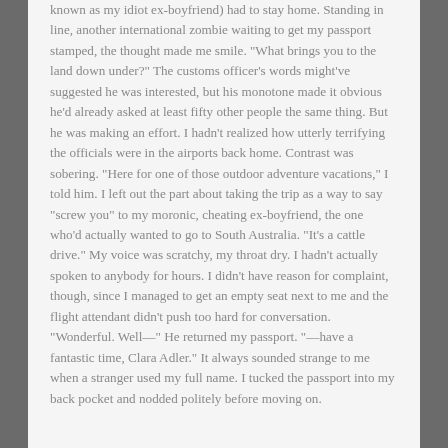known as my idiot ex-boyfriend) had to stay home. Standing in line, another international zombie waiting to get my passport stamped, the thought made me smile. "What brings you to the land down under?" The customs officer's words might've suggested he was interested, but his monotone made it obvious he'd already asked at least fifty other people the same thing. But he was making an effort. I hadn't realized how utterly terrifying the officials were in the airports back home. Contrast was sobering. "Here for one of those outdoor adventure vacations," I told him. I left out the part about taking the trip as a way to say "screw you" to my moronic, cheating ex-boyfriend, the one who'd actually wanted to go to South Australia. "It's a cattle drive." My voice was scratchy, my throat dry. I hadn't actually spoken to anybody for hours. I didn't have reason for complaint, though, since I managed to get an empty seat next to me and the flight attendant didn't push too hard for conversation. "Wonderful. Well—" He returned my passport. "—have a fantastic time, Clara Adler." It always sounded strange to me when a stranger used my full name. I tucked the passport into my back pocket and nodded politely before moving on.